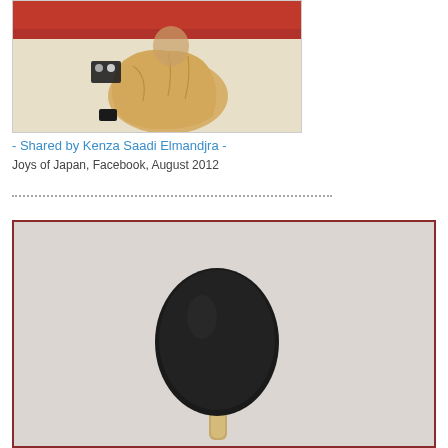[Figure (illustration): Japanese artwork illustration showing a seated figure in robes with calligraphy/writing implements, against a red and cream background]
- Shared by Kenza Saadi Elmandjra -
Joys of Japan, Facebook, August 2012
[Figure (illustration): Illustration showing a dark fan/paddle object with a wooden handle against a light grey background, within a dark red border]